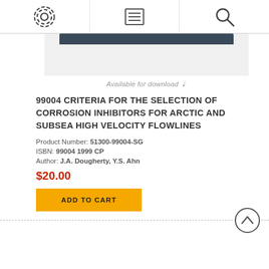Navigation bar with settings, menu, and search icons
[Figure (screenshot): Document thumbnail showing a dark header bar over a light gray body, representing a document preview image]
Available for download
99004 CRITERIA FOR THE SELECTION OF CORROSION INHIBITORS FOR ARCTIC AND SUBSEA HIGH VELOCITY FLOWLINES
Product Number: 51300-99004-SG
ISBN: 99004 1999 CP
Author: J.A. Dougherty, Y.S. Ahn
$20.00
ADD TO CART